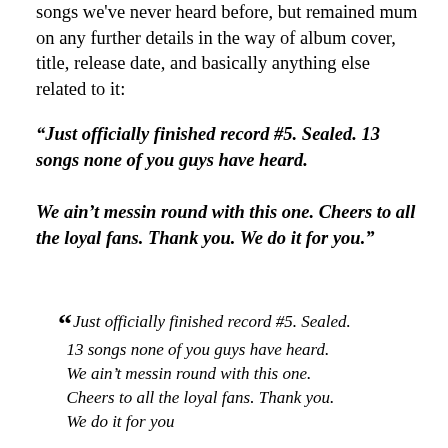songs we've never heard before, but remained mum on any further details in the way of album cover, title, release date, and basically anything else related to it:
“Just officially finished record #5. Sealed. 13 songs none of you guys have heard.

We ain’t messin round with this one. Cheers to all the loyal fans. Thank you. We do it for you.”
“ Just officially finished record #5. Sealed. 13 songs none of you guys have heard. We ain’t messin round with this one. Cheers to all the loyal fans. Thank you. We do it for you